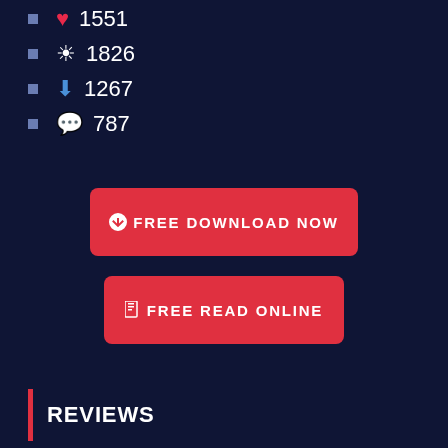❤ 1551
👁 1826
⬇ 1267
💬 787
FREE DOWNLOAD NOW
FREE READ ONLINE
REVIEWS